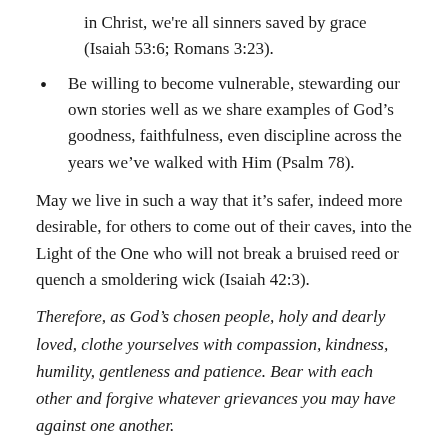in Christ, we're all sinners saved by grace (Isaiah 53:6; Romans 3:23).
Be willing to become vulnerable, stewarding our own stories well as we share examples of God's goodness, faithfulness, even discipline across the years we've walked with Him (Psalm 78).
May we live in such a way that it's safer, indeed more desirable, for others to come out of their caves, into the Light of the One who will not break a bruised reed or quench a smoldering wick (Isaiah 42:3).
Therefore, as God's chosen people, holy and dearly loved, clothe yourselves with compassion, kindness, humility, gentleness and patience. Bear with each other and forgive whatever grievances you may have against one another.